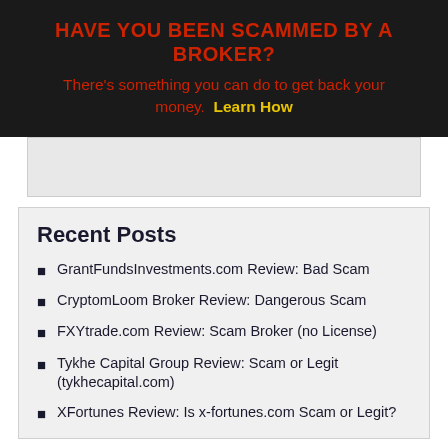HAVE YOU BEEN SCAMMED BY A BROKER?
There's something you can do to get back your money. Learn How
[Figure (other): Advertisement placeholder banner]
Recent Posts
GrantFundsInvestments.com Review: Bad Scam
CryptomLoom Broker Review: Dangerous Scam
FXYtrade.com Review: Scam Broker (no License)
Tykhe Capital Group Review: Scam or Legit (tykhecapital.com)
XFortunes Review: Is x-fortunes.com Scam or Legit?